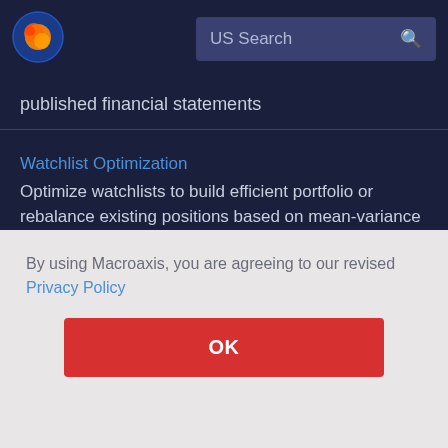[Figure (logo): Macroaxis logo: circular icon with orange and blue globe design]
US Search
published financial statements
Watchlist Optimization
Optimize watchlists to build efficient portfolio or rebalance existing positions based on mean-variance optimization algorithm
By using Macroaxis, you are agreeing to our revised Privacy Policy
OK
and coverage scope